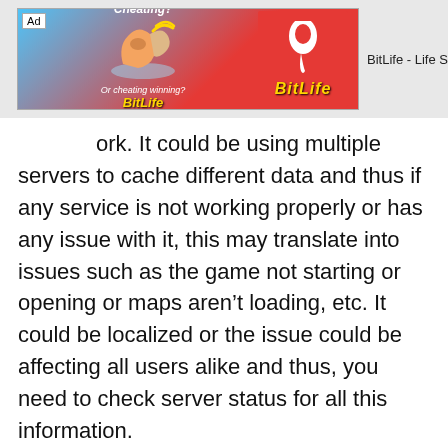[Figure (screenshot): Advertisement banner for BitLife - Life S app, showing a cartoon muscle arm with lightning bolt and a red background with BitLife logo. Ad label visible in top left corner.]
ork. It could be using multiple servers to cache different data and thus if any service is not working properly or has any issue with it, this may translate into issues such as the game not starting or opening or maps aren't loading, etc. It could be localized or the issue could be affecting all users alike and thus, you need to check server status for all this information.
You can check out Google for PUBG Mobile server-status which should give you adequate